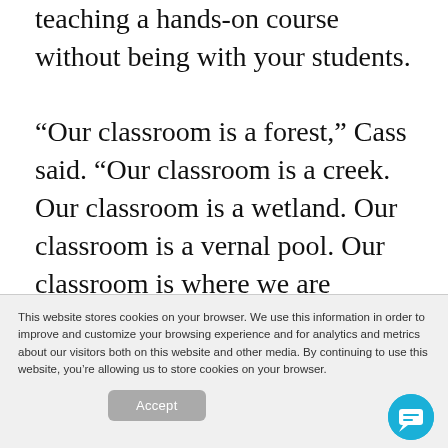teaching a hands-on course without being with your students. “Our classroom is a forest,” Cass said. “Our classroom is a creek. Our classroom is a wetland. Our classroom is a vernal pool. Our classroom is where we are
This website stores cookies on your browser. We use this information in order to improve and customize your browsing experience and for analytics and metrics about our visitors both on this website and other media. By continuing to use this website, you’re allowing us to store cookies on your browser.